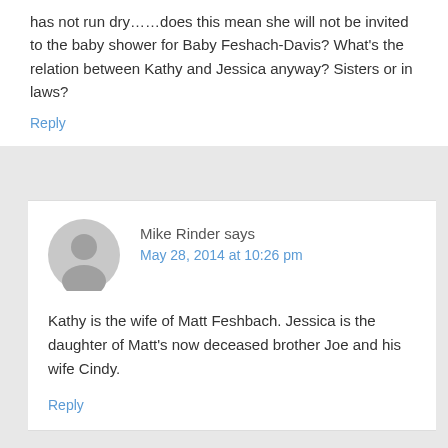has not run dry……does this mean she will not be invited to the baby shower for Baby Feshach-Davis? What's the relation between Kathy and Jessica anyway? Sisters or in laws?
Reply
Mike Rinder says
May 28, 2014 at 10:26 pm
Kathy is the wife of Matt Feshbach. Jessica is the daughter of Matt's now deceased brother Joe and his wife Cindy.
Reply